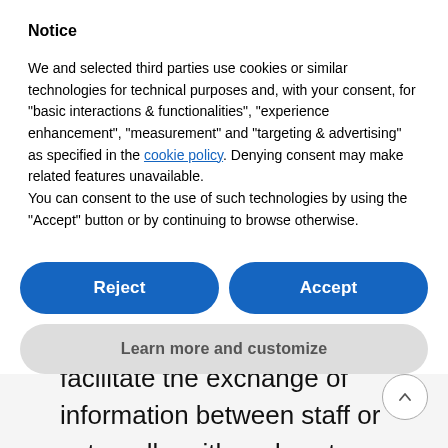Notice
We and selected third parties use cookies or similar technologies for technical purposes and, with your consent, for “basic interactions & functionalities”, “experience enhancement”, “measurement” and “targeting & advertising” as specified in the cookie policy. Denying consent may make related features unavailable.
You can consent to the use of such technologies by using the “Accept” button or by continuing to browse otherwise.
Reject
Accept
Learn more and customize
when you have tools that facilitate the exchange of information between staff or externally, with end customers, it makes it